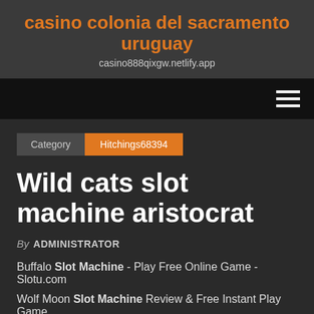casino colonia del sacramento uruguay
casino888qixgw.netlify.app
Category  Hitchings68394
Wild cats slot machine aristocrat
By ADMINISTRATOR
Buffalo Slot Machine - Play Free Online Game - Slotu.com
Wolf Moon Slot Machine Review & Free Instant Play Game
Save endangered wildlife from a radioactive snowstorm to